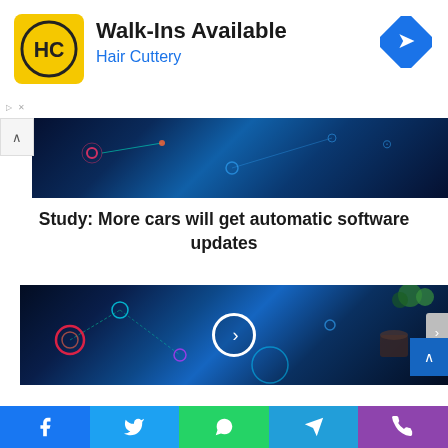[Figure (other): Hair Cuttery advertisement banner with logo, Walk-Ins Available text, and navigation arrow icon]
Study: More cars will get automatic software updates
[Figure (other): Tech/automotive software update concept image with glowing digital interface elements on dark blue background, play button overlay]
[Figure (other): Social sharing bar with Facebook, Twitter, WhatsApp, Telegram, and Phone icons]